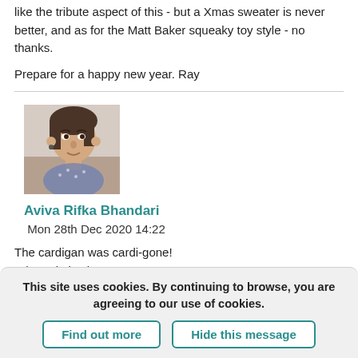like the tribute aspect of this - but a Xmas sweater is never better, and as for the Matt Baker squeaky toy style - no thanks.
Prepare for a happy new year. Ray
[Figure (photo): Profile photo of Aviva Rifka Bhandari, a woman with dark hair]
Aviva Rifka Bhandari
Mon 28th Dec 2020 14:22
The cardigan was cardi-gone!
What a knit-wit
If you wish to post a comment you must login.
This site uses cookies. By continuing to browse, you are agreeing to our use of cookies.